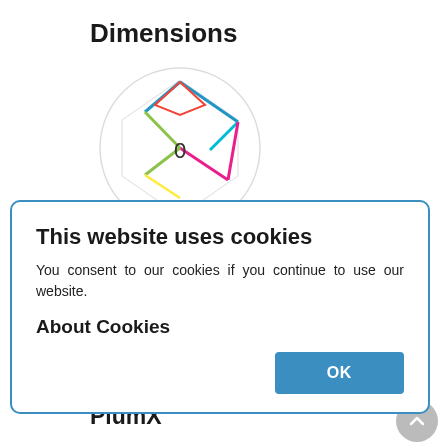Dimensions
[Figure (radar-chart): Dimensions radar/spider chart with colored polygon lines, showing a zero value in the center]
0
[Figure (screenshot): Cookie consent modal dialog with title 'This website uses cookies', body text, 'About Cookies' link, and OK button]
Metrics Loading ...
PlumX